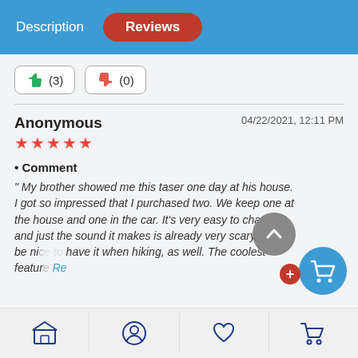Description | Reviews
[Figure (screenshot): Thumbs up button with count (3) and thumbs down button with count (0)]
Anonymous  04/22/2021, 12:11 PM
★★★★★
Comment
" My brother showed me this taser one day at his house. I got so impressed that I purchased two. We keep one at the house and one in the car. It's very easy to charge and just the sound it makes is already very scary. It will be nice to have it when hiking, as well. The coolest feature Re...
[Figure (screenshot): Thumbs up (3) and thumbs down (0) vote buttons at bottom of review]
Store | Profile | Wishlist | Cart